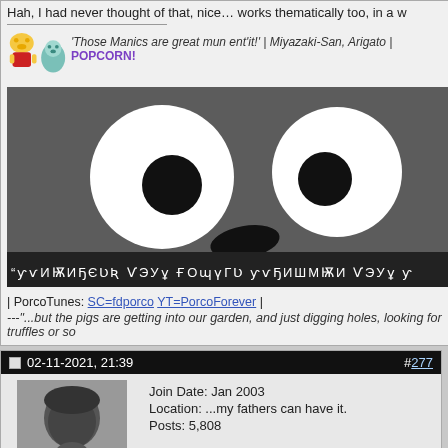Hah, I had never thought of that, nice… works thematically too, in a w
'Those Manics are great mun ent'it!' | Miyazaki-San, Arigato | POPCORN!
[Figure (illustration): Totoro face illustration with large white eyes on grey background, with decorative rune-like text banner]
| PorcoTunes: SC=fdporco YT=PorcoForever |
---"...but the pigs are getting into our garden, and just digging holes, looking for truffles or so
02-11-2021, 21:39   #277
[Figure (photo): Black and white photo of a man, the user Tim's avatar]
Tim
Winterlover
Join Date: Jan 2003
Location: ...my fathers can have it.
Posts: 5,808
The tour pod was very enjoyable with its on the spot queue reporting and steve's detailed partridge-esque travels through motorway services. Have to say i got quite excited listening to the build up, them arriving on stage and launching into motorcycle. Totally gonzo, much poggers.